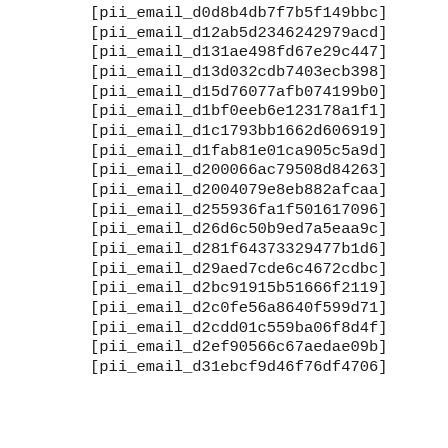[pii_email_d0d8b4db7f7b5f149bbc]
[pii_email_d12ab5d2346242979acd]
[pii_email_d131ae498fd67e29c447]
[pii_email_d13d032cdb7403ecb398]
[pii_email_d15d76077afb074199b0]
[pii_email_d1bf0eeb6e123178a1f1]
[pii_email_d1c1793bb1662d606919]
[pii_email_d1fab81e01ca905c5a9d]
[pii_email_d200066ac79508d84263]
[pii_email_d2004079e8eb882afcaa]
[pii_email_d255936fa1f501617096]
[pii_email_d26d6c50b9ed7a5eaa9c]
[pii_email_d281f64373329477b1d6]
[pii_email_d29aed7cde6c4672cdbc]
[pii_email_d2bc91915b51666f2119]
[pii_email_d2c0fe56a8640f599d71]
[pii_email_d2cdd01c559ba06f8d4f]
[pii_email_d2ef90566c67aedae09b]
[pii_email_d31ebcf9d46f76df4706]